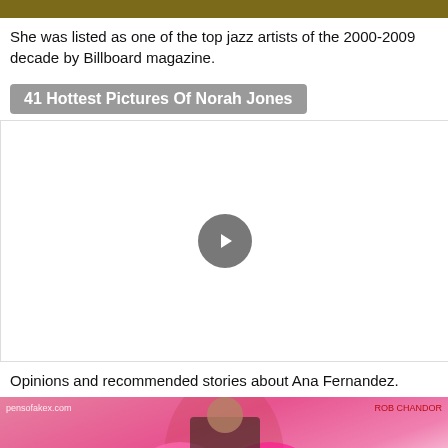[Figure (other): Top decorative bar image in olive/dark yellow color]
She was listed as one of the top jazz artists of the 2000-2009 decade by Billboard magazine.
41 Hottest Pictures Of Norah Jones
[Figure (other): Video player with play button in center on white background]
Opinions and recommended stories about Ana Fernandez.
[Figure (other): Card image for Ruth Vega Fernandez article with overlay text and photo of woman]
Ruth Vega Fernandez Nude, Fappening, Sexy Photos, Uncensored